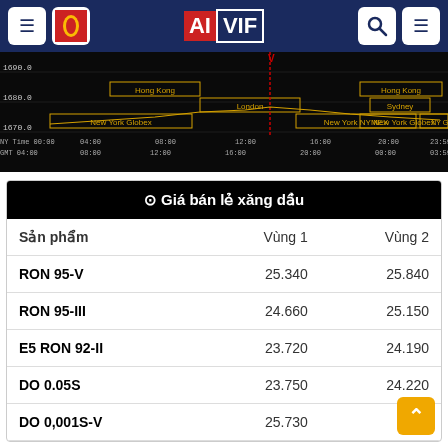AIVIF navigation header
[Figure (continuous-plot): Dark background gold price continuous line chart showing trading sessions: Hong Kong, London, New York Globex, New York NYMEX, NY Globex sessions. Y-axis shows values 1670.0 to 1690.0. X-axis shows NY Time from 00:00 to 23:59 and GMT 04:00 to 03:59.]
| Sản phẩm | Vùng 1 | Vùng 2 |
| --- | --- | --- |
| RON 95-V | 25.340 | 25.840 |
| RON 95-III | 24.660 | 25.150 |
| E5 RON 92-II | 23.720 | 24.190 |
| DO 0.05S | 23.750 | 24.220 |
| DO 0,001S-V | 25.730 | 26... |